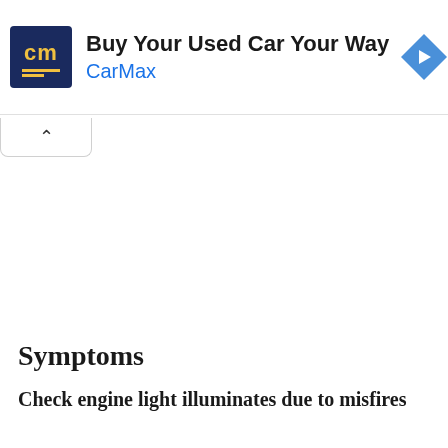[Figure (logo): CarMax advertisement banner with blue square logo showing 'cm' in yellow text, ad headline 'Buy Your Used Car Your Way', subtext 'CarMax' in blue, and a blue diamond navigation arrow icon on the right]
Symptoms
Check engine light illuminates due to misfires